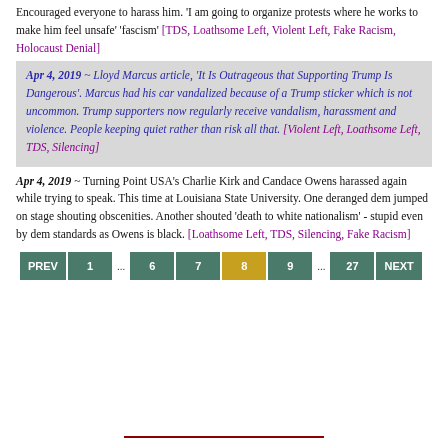Encouraged everyone to harass him. 'I am going to organize protests where he works to make him feel unsafe' 'fascism' [TDS, Loathsome Left, Violent Left, Fake Racism, Holocaust Denial]
Apr 4, 2019 ~ Lloyd Marcus article, 'It Is Outrageous that Supporting Trump Is Dangerous'. Marcus had his car vandalized because of a Trump sticker which is not uncommon. Trump supporters now regularly receive vandalism, harassment and violence. People keeping quiet rather than risk all that. [Violent Left, Loathsome Left, TDS, Silencing]
Apr 4, 2019 ~ Turning Point USA's Charlie Kirk and Candace Owens harassed again while trying to speak. This time at Louisiana State University. One deranged dem jumped on stage shouting obscenities. Another shouted 'death to white nationalism' - stupid even by dem standards as Owens is black. [Loathsome Left, TDS, Silencing, Fake Racism]
PREV 1 ... 6 7 8 9 ... 27 NEXT